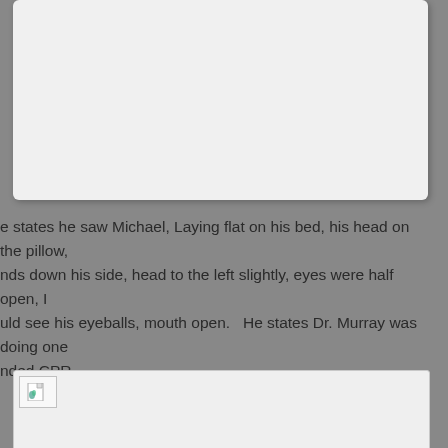[Figure (other): Top portion of a document page, white/light gray card, content not visible (cut off at top of page)]
e states he saw Michael, Laying flat on his bed, his head on the pillow, nds down his side, head to the left slightly, eyes were half open, I uld see his eyeballs, mouth open.   He states Dr. Murray was doing one nded CPR.
[Figure (other): Broken image placeholder in a light gray bordered box at the bottom of the page]